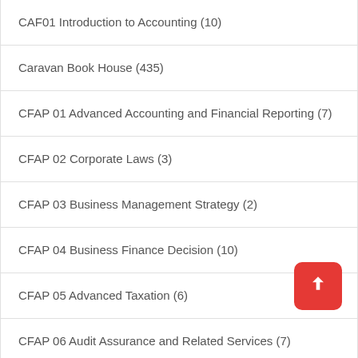CAF01 Introduction to Accounting (10)
Caravan Book House (435)
CFAP 01 Advanced Accounting and Financial Reporting (7)
CFAP 02 Corporate Laws (3)
CFAP 03 Business Management Strategy (2)
CFAP 04 Business Finance Decision (10)
CFAP 05 Advanced Taxation (6)
CFAP 06 Audit Assurance and Related Services (7)
Chemistry (27)
Chemistry (1)